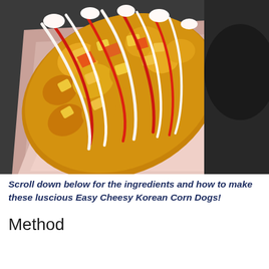[Figure (photo): Close-up photo of a Korean corn dog (hot dog) coated in a crispy batter, drizzled with red ketchup and white mayonnaise sauce, served in a pink/rose-colored cardboard tray. The background shows a dark surface.]
Scroll down below for the ingredients and how to make these luscious Easy Cheesy Korean Corn Dogs!
Method